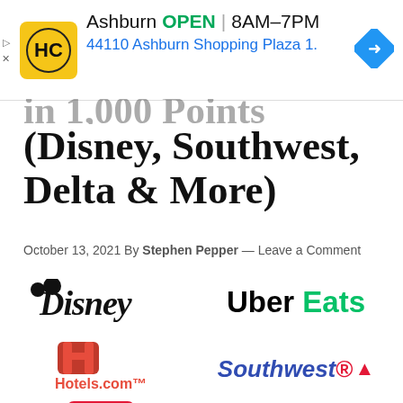[Figure (screenshot): Ad banner for HC store in Ashburn showing logo, OPEN status, hours 8AM-7PM, address 44110 Ashburn Shopping Plaza 1., and navigation icon]
...in 1,000 Points (Disney, Southwest, Delta & More)
October 13, 2021 By Stephen Pepper — Leave a Comment
[Figure (logo): Disney logo]
[Figure (logo): Uber Eats logo]
[Figure (logo): Hotels.com logo with H icon]
[Figure (logo): Southwest Airlines logo]
[Figure (logo): Hotels.com text logo]
[Figure (logo): Delta Airlines logo]
[Figure (logo): Circle K logo (partial)]
[Figure (logo): Darden logo (partial)]